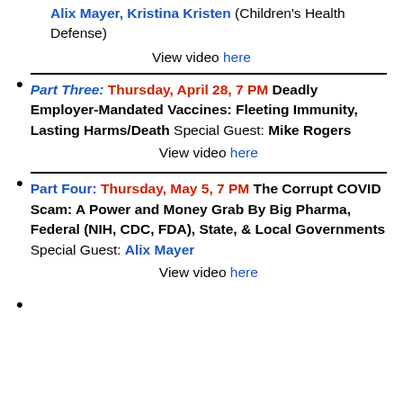Alix Mayer, Kristina Kristen (Children's Health Defense)
View video here
Part Three: Thursday, April 28, 7 PM Deadly Employer-Mandated Vaccines: Fleeting Immunity, Lasting Harms/Death Special Guest: Mike Rogers
View video here
Part Four: Thursday, May 5, 7 PM The Corrupt COVID Scam: A Power and Money Grab By Big Pharma, Federal (NIH, CDC, FDA), State, & Local Governments Special Guest: Alix Mayer
View video here